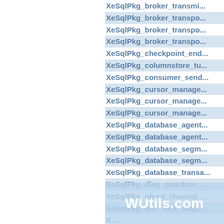XeSqlPkg_broker_transmi...
XeSqlPkg_broker_transpo...
XeSqlPkg_broker_transpo...
XeSqlPkg_broker_transpo...
XeSqlPkg_checkpoint_end...
XeSqlPkg_columnstore_tu...
XeSqlPkg_consumer_send...
XeSqlPkg_cursor_manage...
XeSqlPkg_cursor_manage...
XeSqlPkg_cursor_manage...
XeSqlPkg_database_agent...
XeSqlPkg_database_agent...
XeSqlPkg_database_segm...
XeSqlPkg_database_segm...
XeSqlPkg_database_transa...
XeSqlPkg_diag_quantum_...
XeSqlPkg_ghost_cleanup_...
XeSqlPkg_qim_lock_acqu...
X...
XeSqlPkg_hack_db_man...